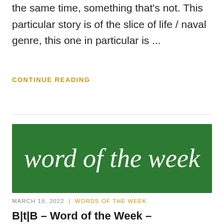the same time, something that's not. This particular story is of the slice of life / naval genre, this one in particular is ...
CONTINUE READING
[Figure (illustration): Green banner image with white cursive/handwritten text reading 'word of the week']
MARCH 18, 2022 | WORDS OF THE WEEK
B|t|B – Word of the Week –